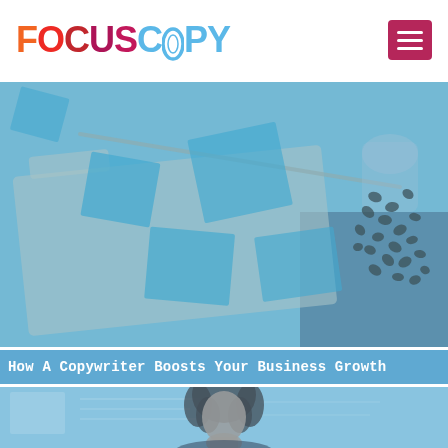[Figure (logo): FocusCopy logo: FOCUS in orange-red gradient, COPY in light blue, O in COPY styled with a circle outline]
[Figure (photo): Photo of a Manila folder with several cyan/light-blue sticky notes scattered on top, and a spilled jar of coffee beans on the right side, with a blue tint overlay]
How A Copywriter Boosts Your Business Growth
[Figure (photo): Photo of a woman with curly dark hair holding her hand to her chin in a thinking pose, with a blue tint overlay, partially visible at bottom of page]